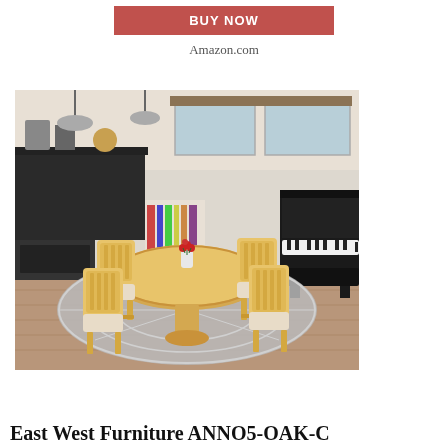BUY NOW
Amazon.com
[Figure (photo): East West Furniture dining set with round oak table and four chairs with cushioned seats, placed on a round gray rug in a modern kitchen/dining room setting.]
East West Furniture ANNO5-OAK-C